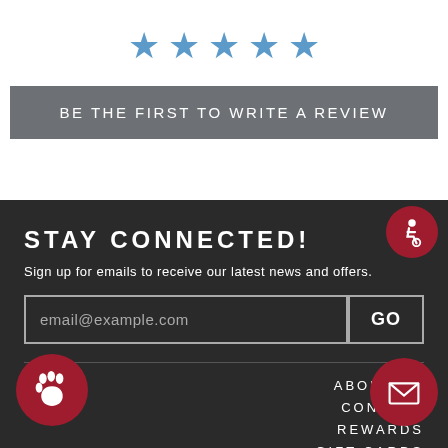[Figure (illustration): Five blue star icons in a row indicating a review rating section]
BE THE FIRST TO WRITE A REVIEW
STAY CONNECTED!
Sign up for emails to receive our latest news and offers.
email@example.com
GO
ABOUT US
CONTACT
REWARDS
GIFT CARDS
RETURNS